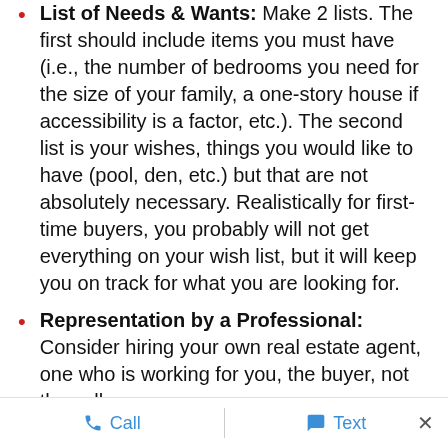List of Needs & Wants: Make 2 lists. The first should include items you must have (i.e., the number of bedrooms you need for the size of your family, a one-story house if accessibility is a factor, etc.). The second list is your wishes, things you would like to have (pool, den, etc.) but that are not absolutely necessary. Realistically for first-time buyers, you probably will not get everything on your wish list, but it will keep you on track for what you are looking for.
Representation by a Professional: Consider hiring your own real estate agent, one who is working for you, the buyer, not the seller.
Focus & Organization: In a convenient location,
Call   Text